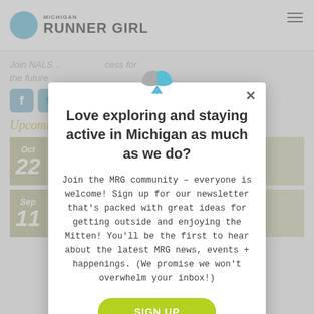[Figure (screenshot): Michigan Runner Girl website background with header logo, navigation, social icons, upcoming events section, partially visible behind modal overlay]
[Figure (logo): Michigan Runner Girl logo icon — overlapping leaf/wing shapes in teal and gray, shown at top of modal popup]
Love exploring and staying active in Michigan as much as we do?
Join the MRG community – everyone is welcome! Sign up for our newsletter that's packed with great ideas for getting outside and enjoying the Mitten! You'll be the first to hear about the latest MRG news, events + happenings. (We promise we won't overwhelm your inbox!)
SIGN UP